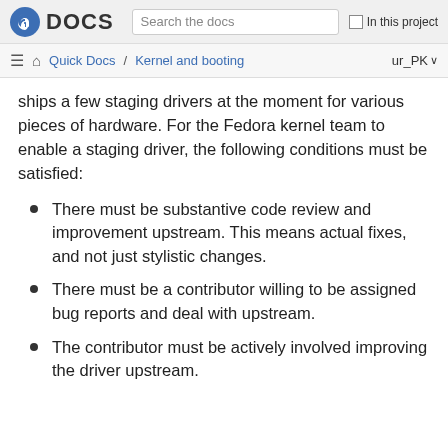Fedora DOCS — Search the docs — In this project
Quick Docs / Kernel and booting — ur_PK
ships a few staging drivers at the moment for various pieces of hardware. For the Fedora kernel team to enable a staging driver, the following conditions must be satisfied:
There must be substantive code review and improvement upstream. This means actual fixes, and not just stylistic changes.
There must be a contributor willing to be assigned bug reports and deal with upstream.
The contributor must be actively involved improving the driver upstream.